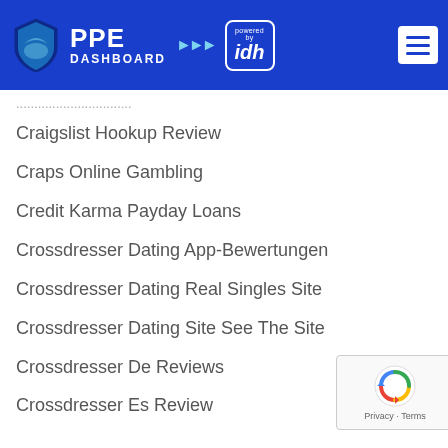PPE DASHBOARD powered by idh
Craigslist Hookup Review
Craps Online Gambling
Credit Karma Payday Loans
Crossdresser Dating App-Bewertungen
Crossdresser Dating Real Singles Site
Crossdresser Dating Site See The Site
Crossdresser De Reviews
Crossdresser Es Review